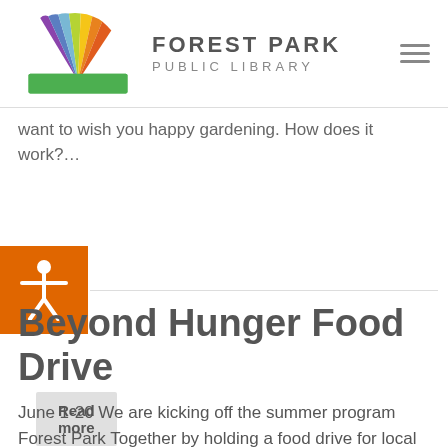Forest Park Public Library
want to wish you happy gardening. How does it work?…
Read more
[Figure (logo): Accessibility icon (person with arms out) on orange background]
Beyond Hunger Food Drive
June 1-20 We are kicking off the summer program Forest Park Together by holding a food drive for local organization Beyond Hunger. Beyond Hunger…